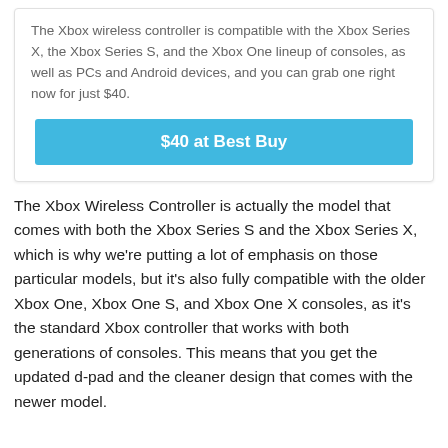The Xbox wireless controller is compatible with the Xbox Series X, the Xbox Series S, and the Xbox One lineup of consoles, as well as PCs and Android devices, and you can grab one right now for just $40.
$40 at Best Buy
The Xbox Wireless Controller is actually the model that comes with both the Xbox Series S and the Xbox Series X, which is why we're putting a lot of emphasis on those particular models, but it's also fully compatible with the older Xbox One, Xbox One S, and Xbox One X consoles, as it's the standard Xbox controller that works with both generations of consoles. This means that you get the updated d-pad and the cleaner design that comes with the newer model.